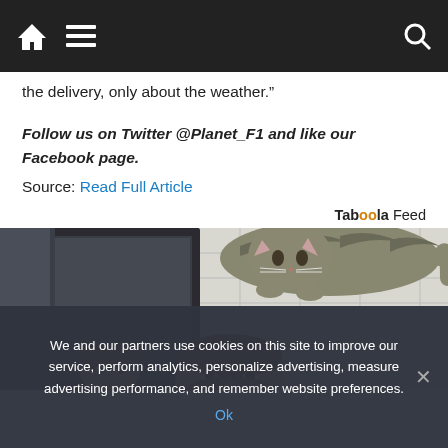Navigation bar with home, menu, and search icons
the delivery, only about the weather.”
Follow us on Twitter @Planet_F1 and like our Facebook page.
Source: Read Full Article
Taboola Feed
[Figure (photo): A man looking up at a cat sitting on top of a bathroom mirror, with white subway tile wall in background]
We and our partners use cookies on this site to improve our service, perform analytics, personalize advertising, measure advertising performance, and remember website preferences.
Ok